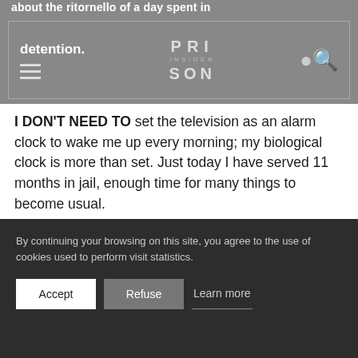about the ritornello of a day spent in detention.
[Figure (logo): Prison Insider logo in white text on grey background with hamburger menu and search icon]
I DON'T NEED TO set the television as an alarm clock to wake me up every morning; my biological clock is more than set. Just today I have served 11 months in jail, enough time for many things to become usual.
Honestly, our breakfasts are privileged, because when we work we have money to buy good coffee
By continuing your browsing on this site, you agree to the use of cookies used to perform visit statistics.